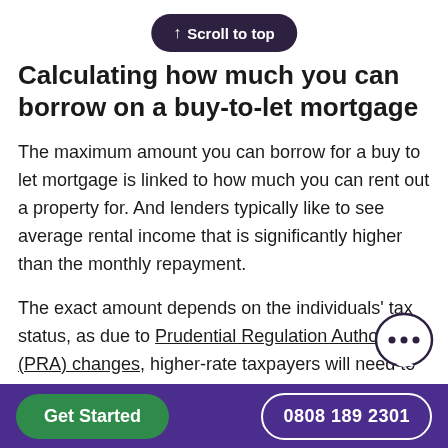Calculating how much you can borrow on a buy-to-let mortgage
The maximum amount you can borrow for a buy to let mortgage is linked to how much you can rent out a property for. And lenders typically like to see average rental income that is significantly higher than the monthly repayment.
The exact amount depends on the individuals' tax status, as due to Prudential Regulation Authority (PRA) changes, higher-rate taxpayers will need to evidence more rental income in order to afford the mortgage
Get Started  0808 189 2301